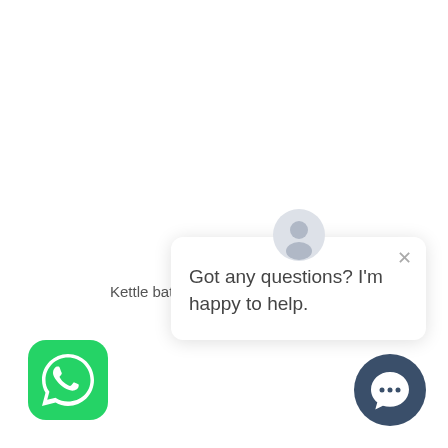Kettle battery model
[Figure (screenshot): Chat popup with avatar icon showing text: Got any questions? I'm happy to help.]
[Figure (logo): WhatsApp logo green rounded square icon]
[Figure (other): Dark blue circular chat/messenger button in bottom right corner]